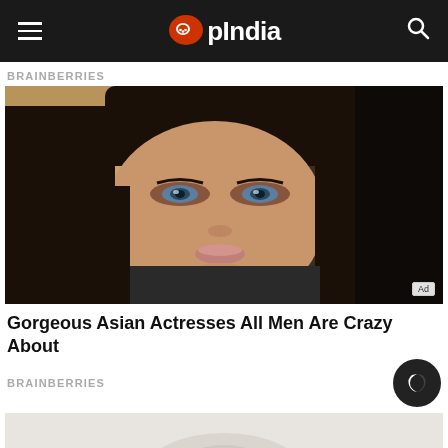OpIndia
BRAINBERRIES
[Figure (photo): Close-up photo of a beautiful woman with dark hair, blue/grey eyes, and a slight smile, used as thumbnail for an article about gorgeous Asian actresses.]
Gorgeous Asian Actresses All Men Are Crazy About
BRAINBERRIES
[Figure (photo): Partial/blurred second thumbnail image at the bottom of the page.]